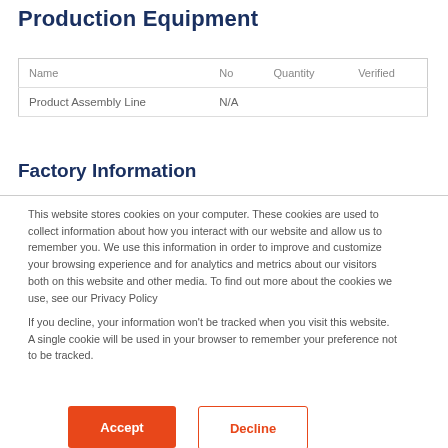Production Equipment
| Name | No | Quantity | Verified |
| --- | --- | --- | --- |
| Product Assembly Line | N/A |  |  |
Factory Information
This website stores cookies on your computer. These cookies are used to collect information about how you interact with our website and allow us to remember you. We use this information in order to improve and customize your browsing experience and for analytics and metrics about our visitors both on this website and other media. To find out more about the cookies we use, see our Privacy Policy
If you decline, your information won't be tracked when you visit this website. A single cookie will be used in your browser to remember your preference not to be tracked.